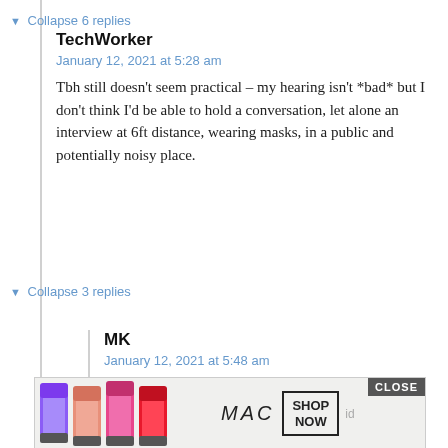▼ Collapse 6 replies
TechWorker
January 12, 2021 at 5:28 am
Tbh still doesn't seem practical – my hearing isn't *bad* but I don't think I'd be able to hold a conversation, let alone an interview at 6ft distance, wearing masks, in a public and potentially noisy place.
▼ Collapse 3 replies
MK
January 12, 2021 at 5:48 am
Frankly, I don't think it's possible to h...
[Figure (screenshot): MAC cosmetics advertisement overlay with lipstick products, MAC brand logo, SHOP NOW button, and CLOSE button]